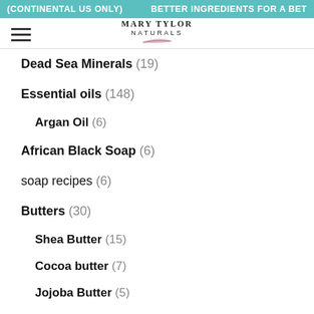(CONTINENTAL US ONLY)    BETTER INGREDIENTS FOR A BET
[Figure (logo): Mary Tylor Naturals logo with feather icon]
Dead Sea Minerals (19)
Essential oils (148)
Argan Oil (6)
African Black Soap (6)
soap recipes (6)
Butters (30)
Shea Butter (15)
Cocoa butter (7)
Jojoba Butter (5)
Mango Butter. (9)
Carrier Oils (24)